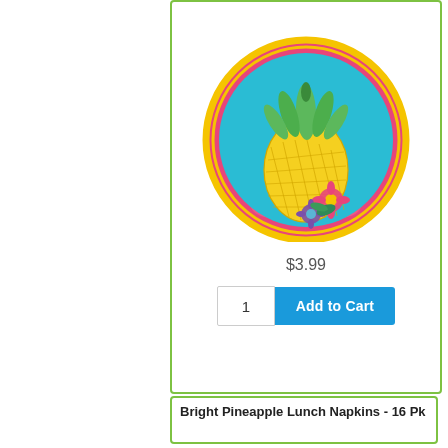[Figure (photo): A decorative paper plate with a bright pineapple design. The plate has a pink border with hibiscus flower patterns, a teal/aqua inner circle, and features a yellow pineapple with green leaves and colorful hibiscus flowers at its base.]
$3.99
1  Add to Cart
Bright Pineapple Lunch Napkins - 16 Pk